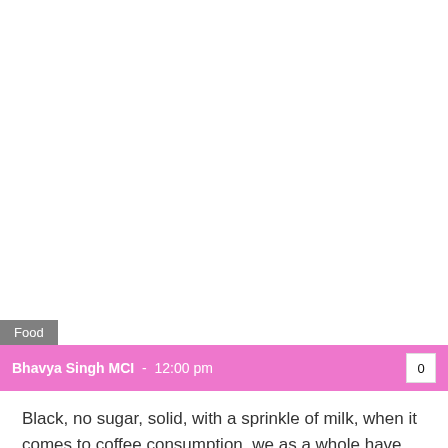Food
Bhavya Singh MCI  -  12:00 pm
Black, no sugar, solid, with a sprinkle of milk, when it comes to coffee consumption, we as a whole have our particular